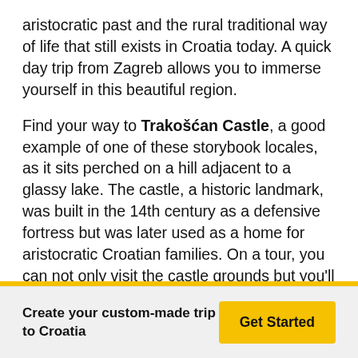aristocratic past and the rural traditional way of life that still exists in Croatia today. A quick day trip from Zagreb allows you to immerse yourself in this beautiful region.
Find your way to Trakošćan Castle, a good example of one of these storybook locales, as it sits perched on a hill adjacent to a glassy lake. The castle, a historic landmark, was built in the 14th century as a defensive fortress but was later used as a home for aristocratic Croatian families. On a tour, you can not only visit the castle grounds but you'll go inside and explore all four floors, which function as a museum with permanent exhibitions.
Afterward, visit Veliki Tabor Castle, which is located just southwest of Trakošćan. This gothic-renaissance castle dates to the 16th century and also sits on a green hill overlooking
Create your custom-made trip to Croatia